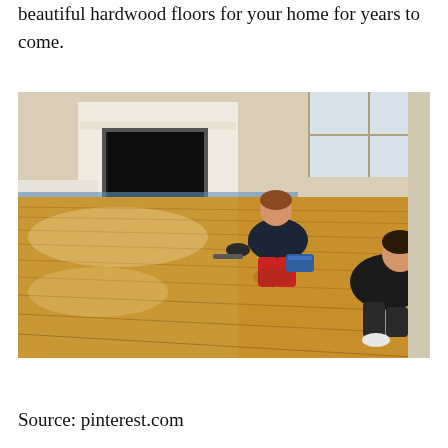beautiful hardwood floors for your home for years to come.
[Figure (photo): Two workers on their knees applying finish/stain to a hardwood floor in a living room with a fireplace in the background. The left side of the floor appears freshly finished and shiny, while the right side is being worked on.]
Source: pinterest.com